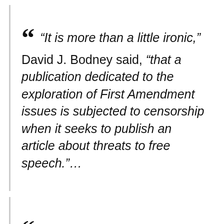“ “It is more than a little ironic,” David J. Bodney said, “that a publication dedicated to the exploration of First Amendment issues is subjected to censorship when it seeks to publish an article about threats to free speech.”…
“ Trump has made frequent threats in recent weeks to file more lawsuits, including ones against The New York Times for publishing parts of his tax returns and accounts of women accusing him of sexual misconduct. On Saturday, he threatened to sue the